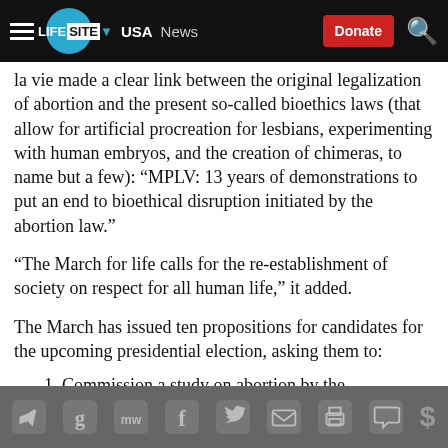LIFESITE · USA · News · Donate
la vie made a clear link between the original legalization of abortion and the present so-called bioethics laws (that allow for artificial procreation for lesbians, experimenting with human embryos, and the creation of chimeras, to name but a few): “MPLV: 13 years of demonstrations to put an end to bioethical disruption initiated by the abortion law.”
“The March for life calls for the re-establishment of society on respect for all human life,” it added.
The March has issued ten propositions for candidates for the upcoming presidential election, asking them to:
1.  Commission a study on abortion by the
Social share icons: Telegram, Google, MW, Facebook, Twitter, Email, Print, Comment, Donate